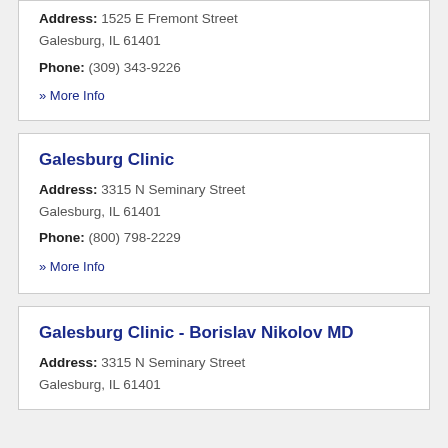Address: 1525 E Fremont Street Galesburg, IL 61401
Phone: (309) 343-9226
» More Info
Galesburg Clinic
Address: 3315 N Seminary Street Galesburg, IL 61401
Phone: (800) 798-2229
» More Info
Galesburg Clinic - Borislav Nikolov MD
Address: 3315 N Seminary Street Galesburg, IL 61401